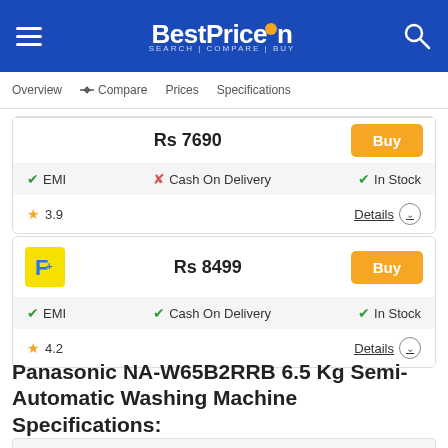[Figure (logo): BestPriceOn website header with blue background, hamburger menu, logo with magnifier, and search icon]
Overview  ⇄ Compare  Prices  Specifications
Rs 7690  Buy
✔ EMI  ✘ Cash On Delivery  ✔ In Stock
★ 3.9  Details ⌄
Rs 8499  Buy
✔ EMI  ✔ Cash On Delivery  ✔ In Stock
★ 4.2  Details ⌄
Panasonic NA-W65B2RRB 6.5 Kg Semi-Automatic Washing Machine Specifications:
| General |
| --- |